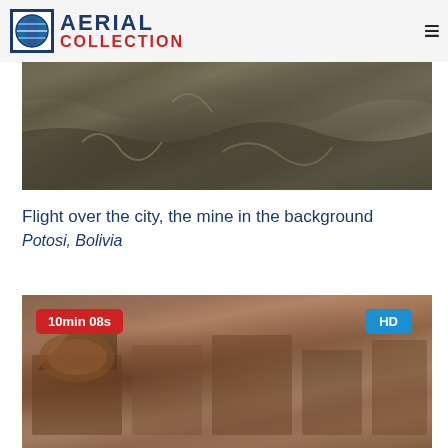AERIAL COLLECTION
[Figure (photo): Aerial photograph of Potosi, Bolivia showing dry landscape with mining area in the background, fields and roads visible from above]
Flight over the city, the mine in the background
Potosi, Bolivia
[Figure (photo): Aerial photograph of Potosi city rooftops including domed church roof and historic buildings, with red badge showing duration 10min 08s and HD quality badge]